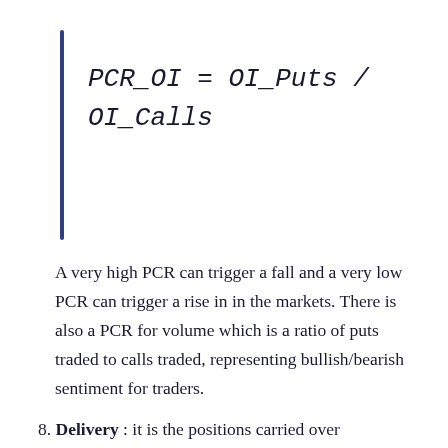A very high PCR can trigger a fall and a very low PCR can trigger a rise in in the markets. There is also a PCR for volume which is a ratio of puts traded to calls traded, representing bullish/bearish sentiment for traders.
8. Delivery : it is the positions carried over